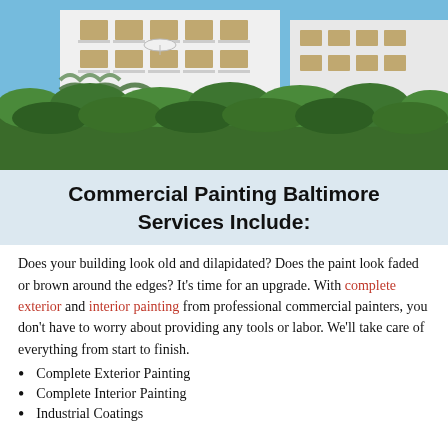[Figure (photo): Modern white multi-story apartment building with balconies and large green hedge in foreground, blue sky visible]
Commercial Painting Baltimore Services Include:
Does your building look old and dilapidated? Does the paint look faded or brown around the edges? It's time for an upgrade. With complete exterior and interior painting from professional commercial painters, you don't have to worry about providing any tools or labor. We'll take care of everything from start to finish.
Complete Exterior Painting
Complete Interior Painting
Industrial Coatings